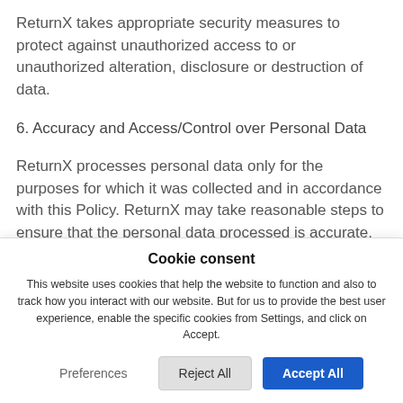ReturnX takes appropriate security measures to protect against unauthorized access to or unauthorized alteration, disclosure or destruction of data.
6. Accuracy and Access/Control over Personal Data
ReturnX processes personal data only for the purposes for which it was collected and in accordance with this Policy. ReturnX may take reasonable steps to ensure that the personal data processed is accurate, complete
Cookie consent
This website uses cookies that help the website to function and also to track how you interact with our website. But for us to provide the best user experience, enable the specific cookies from Settings, and click on Accept.
Preferences   Reject All   Accept All